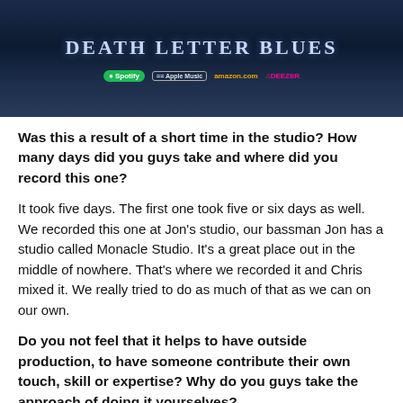[Figure (illustration): Album promotional image for 'Death Letter Blues' with dark blue background showing album title text in stylized serif font and streaming platform logos including Spotify, Apple Music, Amazon, and Deezer]
Was this a result of a short time in the studio? How many days did you guys take and where did you record this one?
It took five days. The first one took five or six days as well. We recorded this one at Jon's studio, our bassman Jon has a studio called Monacle Studio. It's a great place out in the middle of nowhere. That's where we recorded it and Chris mixed it. We really tried to do as much of that as we can on our own.
Do you not feel that it helps to have outside production, to have someone contribute their own touch, skill or expertise? Why do you guys take the approach of doing it yourselves?